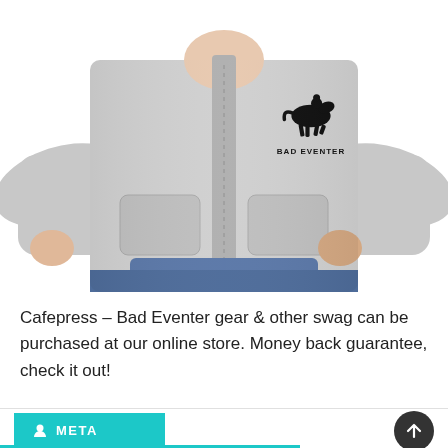[Figure (photo): Person wearing a grey zip-up hoodie with a 'Bad Eventer' logo on the chest showing a horse and rider silhouette. The person is wearing blue jeans.]
Cafepress – Bad Eventer gear & other swag can be purchased at our online store. Money back guarantee, check it out!
META